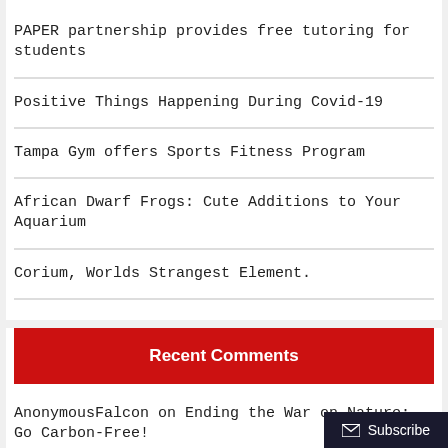PAPER partnership provides free tutoring for students
Positive Things Happening During Covid-19
Tampa Gym offers Sports Fitness Program
African Dwarf Frogs: Cute Additions to Your Aquarium
Corium, Worlds Strangest Element.
Recent Comments
AnonymousFalcon on Ending the War on Nature: Go Carbon-Free!